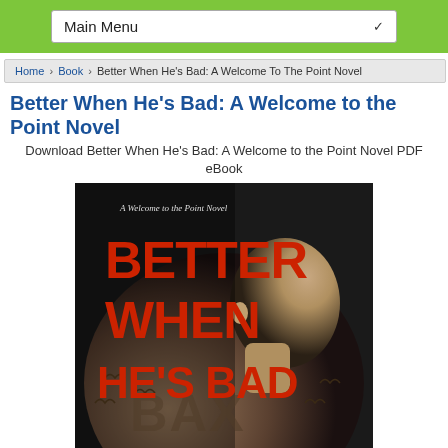Main Menu
Home › Book › Better When He's Bad: A Welcome To The Point Novel
Better When He's Bad: A Welcome to the Point Novel
Download Better When He's Bad: A Welcome to the Point Novel PDF eBook
[Figure (photo): Book cover for 'Better When He's Bad: A Welcome to the Point Novel' showing a man's back and side profile with tattoos, with large red text reading BETTER WHEN HE'S BAD and smaller text 'A Welcome to the Point Novel' at the top. The word BAX appears at the bottom.]